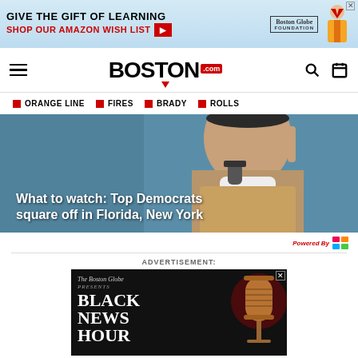[Figure (infographic): Top banner advertisement: 'Give the Gift of Learning – Shop Our Amazon Wish List' with Boston Globe Foundation logo, red arrow button, and gift character illustration]
[Figure (logo): Boston.com navigation bar logo with hamburger menu, search icon, and calendar icon]
ORANGE LINE  ■  FIRES  ■  BRADY  ■  ROLLS
[Figure (photo): Hero image of a Black woman with finger raised, overlaid with white bold text: 'What to watch: Top Democrats square off in Florida, New York']
What to watch: Top Democrats square off in Florida, New York
Powered By
ADVERTISEMENT:
[Figure (infographic): The Boston Globe Presents – Black News Hour advertisement with microphone image on dark background]